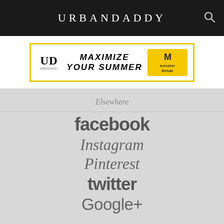URBANDADDY
[Figure (photo): Advertisement banner: UD logo on left, 'MAXIMIZE YOUR SUMMER' text in center, Monster Rehab logo on right, yellow border]
Elsewhere
facebook
Instagram
Pinterest
twitter
Google+